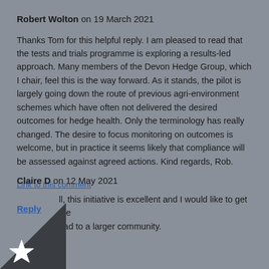Robert Wolton on 19 March 2021
Thanks Tom for this helpful reply. I am pleased to read that the tests and trials programme is exploring a results-led approach. Many members of the Devon Hedge Group, which I chair, feel this is the way forward. As it stands, the pilot is largely going down the route of previous agri-environment schemes which have often not delivered the desired outcomes for hedge health. Only the terminology has really changed. The desire to focus monitoring on outcomes is welcome, but in practice it seems likely that compliance will be assessed against agreed actions. Kind regards, Rob.
Link to this comment
Reply
Claire D on 12 May 2021
ll, this initiative is excellent and I would like to get the ead to a larger community.